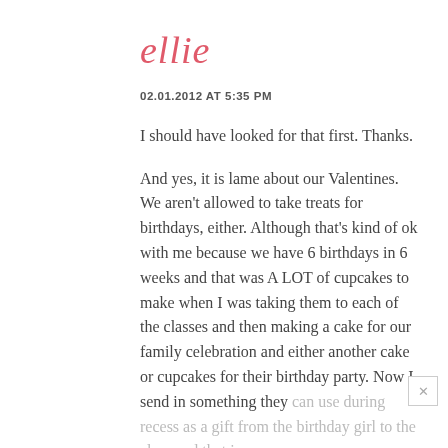ellie
02.01.2012 AT 5:35 PM
I should have looked for that first. Thanks.
And yes, it is lame about our Valentines. We aren't allowed to take treats for birthdays, either. Although that's kind of ok with me because we have 6 birthdays in 6 weeks and that was A LOT of cupcakes to make when I was taking them to each of the classes and then making a cake for our family celebration and either another cake or cupcakes for their birthday party. Now I send in something they can use during recess as a gift from the birthday girl to the class and that is super easy.